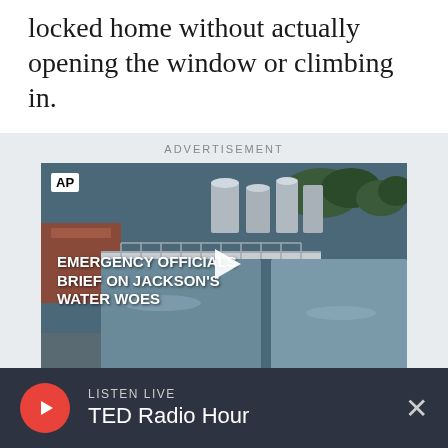locked home without actually opening the window or climbing in.
[Figure (screenshot): Advertisement section with AP video player showing a water treatment facility. Title text reads: EMERGENCY OFFICIALS BRIEF ON JACKSON'S WATER WOES. AP logo badge in upper left. White play button triangle in center.]
LISTEN LIVE  TED Radio Hour